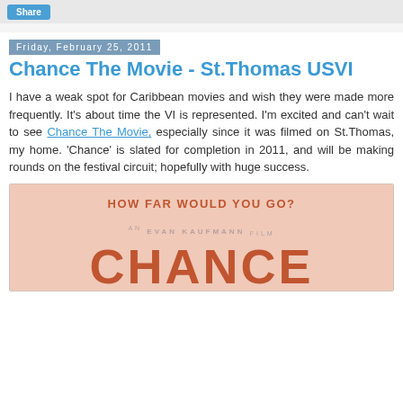Share
Friday, February 25, 2011
Chance The Movie - St.Thomas USVI
I have a weak spot for Caribbean movies and wish they were made more frequently. It's about time the VI is represented. I'm excited and can't wait to see Chance The Movie, especially since it was filmed on St.Thomas, my home. 'Chance' is slated for completion in 2011, and will be making rounds on the festival circuit; hopefully with huge success.
[Figure (illustration): Movie poster for 'Chance' - An Evan Kaufmann film. Salmon/pink background with tagline 'HOW FAR WOULD YOU GO?' at top in orange-red uppercase letters. Credits read 'AN EVAN KAUFMANN FILM' in small caps. Large bold 'CHANCE' title text in orange-red at bottom.]